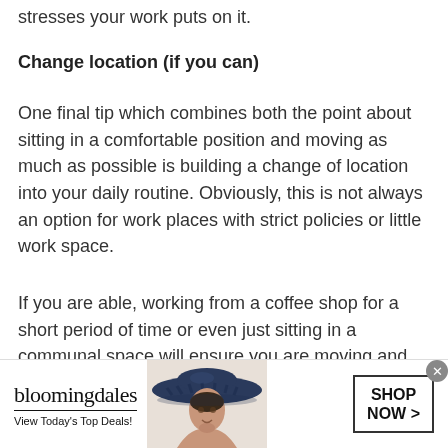stresses your work puts on it.
Change location (if you can)
One final tip which combines both the point about sitting in a comfortable position and moving as much as possible is building a change of location into your daily routine. Obviously, this is not always an option for work places with strict policies or little work space.
If you are able, working from a coffee shop for a short period of time or even just sitting in a communal space will ensure you are moving and helping your
[Figure (screenshot): Bloomingdale's advertisement banner. Shows the Bloomingdale's logo with 'View Today's Top Deals!' tagline, a woman wearing a large brimmed hat, and a 'SHOP NOW >' call-to-action button. Close button (x) in top-right corner.]